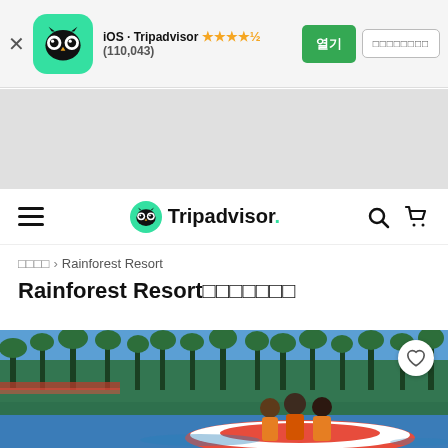iOS · Tripadvisor ★★★★½ (110,043)
[Figure (screenshot): Tripadvisor app banner with owl logo icon on green background, close button, star rating and install buttons]
[Figure (screenshot): Grey advertisement placeholder space]
Tripadvisor navigation bar with hamburger menu, logo, search and cart icons
□□□□ > Rainforest Resort
Rainforest Resort□□□□□□□
[Figure (photo): People riding a red and white speedboat/jet ski on blue water with tropical island and palm trees in the background]